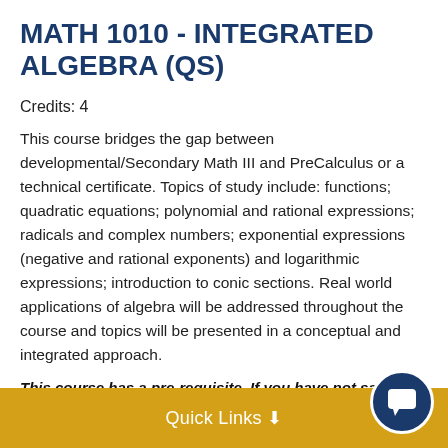MATH 1010 - INTEGRATED ALGEBRA (QS)
Credits: 4
This course bridges the gap between developmental/Secondary Math III and PreCalculus or a technical certificate. Topics of study include: functions; quadratic equations; polynomial and rational expressions; radicals and complex numbers; exponential expressions (negative and rational exponents) and logarithmic expressions; introduction to conic sections. Real world applications of algebra will be addressed throughout the course and topics will be presented in a conceptual and integrated approach.
This course has a pre-requisite. If you have not satisfied the pre-requisite you will need to go through the SLCC Pl...
Quick Links ↓